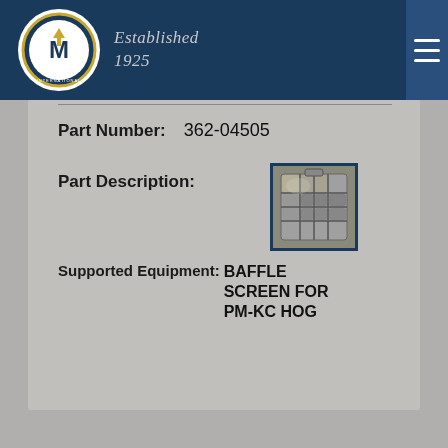Montgomery Industries International — Established 1925
Part Number: 362-04505
Part Description:
[Figure (photo): Close-up photo of a baffle screen component for a PM-KC Hog machine, showing a metal grated/slotted housing part.]
Supported Equipment: BAFFLE SCREEN FOR PM-KC HOG